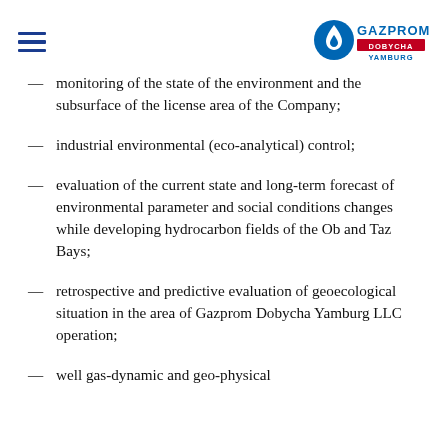Gazprom Dobycha Yamburg logo and navigation header
monitoring of the state of the environment and the subsurface of the license area of the Company;
industrial environmental (eco-analytical) control;
evaluation of the current state and long-term forecast of environmental parameter and social conditions changes while developing hydrocarbon fields of the Ob and Taz Bays;
retrospective and predictive evaluation of geoecological situation in the area of Gazprom Dobycha Yamburg LLC operation;
well gas-dynamic and geo-physical